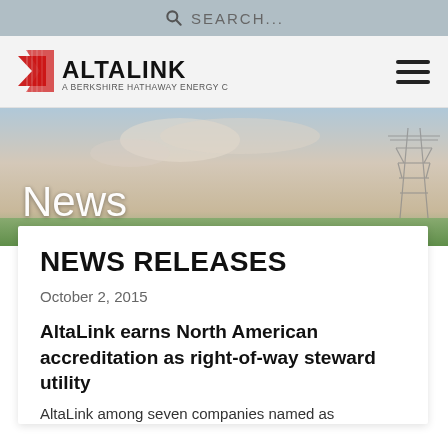SEARCH...
[Figure (logo): AltaLink logo with red triangle and text 'ALTALINK / A BERKSHIRE HATHAWAY ENERGY COMPANY', with hamburger menu icon on the right]
[Figure (photo): Hero banner photograph of sky/sunset with electrical transmission tower at right, with overlaid text 'News' in white]
NEWS RELEASES
October 2, 2015
AltaLink earns North American accreditation as right-of-way steward utility
AltaLink among seven companies named as